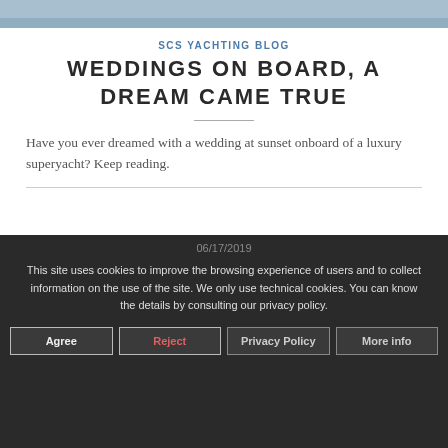[Figure (photo): Partial image at top of page, appears to be a yacht or boat scene]
SCS YACHTING BLOG
WEDDINGS ON BOARD, A DREAM CAME TRUE
Have you ever dreamed with a wedding at sunset onboard of a luxury superyacht? Keep reading.
06/17/2019
This site uses cookies to improve the browsing experience of users and to collect information on the use of the site. We only use technical cookies. You can know the details by consulting our privacy policy.